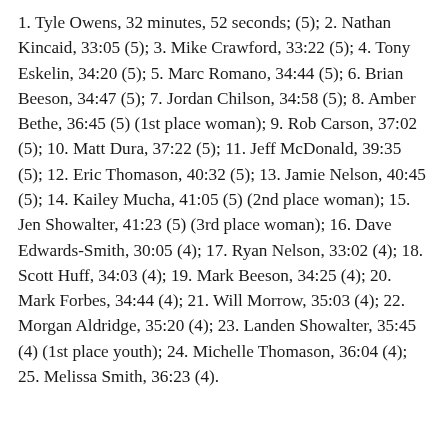1. Tyle Owens, 32 minutes, 52 seconds; (5); 2. Nathan Kincaid, 33:05 (5); 3. Mike Crawford, 33:22 (5); 4. Tony Eskelin, 34:20 (5); 5. Marc Romano, 34:44 (5); 6. Brian Beeson, 34:47 (5); 7. Jordan Chilson, 34:58 (5); 8. Amber Bethe, 36:45 (5) (1st place woman); 9. Rob Carson, 37:02 (5); 10. Matt Dura, 37:22 (5); 11. Jeff McDonald, 39:35 (5); 12. Eric Thomason, 40:32 (5); 13. Jamie Nelson, 40:45 (5); 14. Kailey Mucha, 41:05 (5) (2nd place woman); 15. Jen Showalter, 41:23 (5) (3rd place woman); 16. Dave Edwards-Smith, 30:05 (4); 17. Ryan Nelson, 33:02 (4); 18. Scott Huff, 34:03 (4); 19. Mark Beeson, 34:25 (4); 20. Mark Forbes, 34:44 (4); 21. Will Morrow, 35:03 (4); 22. Morgan Aldridge, 35:20 (4); 23. Landen Showalter, 35:45 (4) (1st place youth); 24. Michelle Thomason, 36:04 (4); 25. Melissa Smith, 36:23 (4).